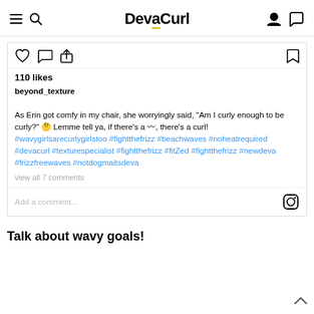DevaCurl
[Figure (screenshot): Instagram post card showing like/comment/share icons, bookmark icon, 110 likes, username beyond_texture, post caption text with hashtags, and view all 7 comments link]
Talk about wavy goals!